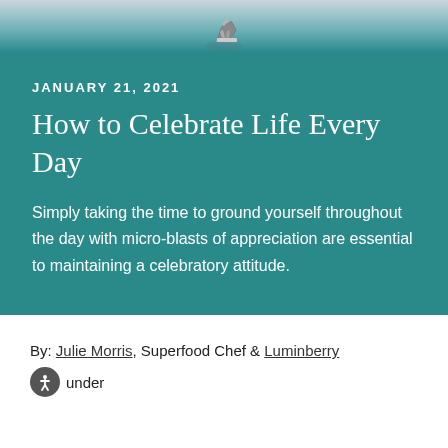[Figure (photo): Top banner image showing a person jumping or running, with sneakers visible, against a light blue-grey sky background]
JANUARY 21, 2021
How to Celebrate Life Every Day
Simply taking the time to ground yourself throughout the day with micro-blasts of appreciation are essential to maintaining a celebratory attitude.
By: Julie Morris, Superfood Chef & Luminberry founder